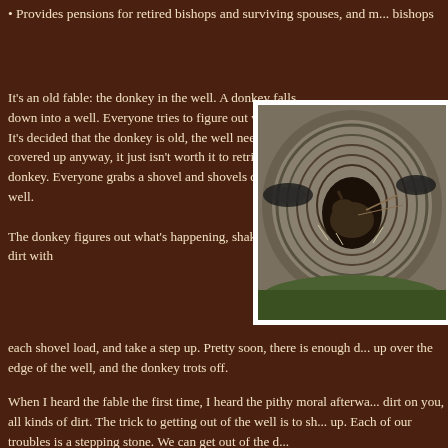• Provides pensions for retired bishops and surviving spouses, and m... bishops
It's an old fable: the donkey in the well. A donkey falls down into a well. Everyone tries to figure out what to do. It's decided that the donkey is old, the well needs to be covered up anyway, it just isn't worth it to retrieve the donkey. Everyone grabs a shovel and shovels dirt into the well.
[Figure (photo): A donkey inside a stone-lined well viewed from above, surrounded by old tires]
The donkey figures out what's happening, shakes off the dirt with each shovel load, and take a step up. Pretty soon, there is enough d... up over the edge of the well, and the donkey trots off.
When I heard the fable the first time, I heard the pithy moral afterwa... dirt on you, all kinds of dirt. The trick to getting out of the well is to sh... up. Each of our troubles is a stepping stone. We can get out of the d...